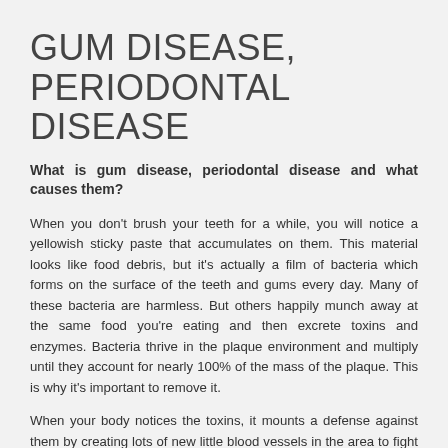GUM DISEASE, PERIODONTAL DISEASE
What is gum disease, periodontal disease and what causes them?
When you don't brush your teeth for a while, you will notice a yellowish sticky paste that accumulates on them. This material looks like food debris, but it's actually a film of bacteria which forms on the surface of the teeth and gums every day. Many of these bacteria are harmless. But others happily munch away at the same food you're eating and then excrete toxins and enzymes. Bacteria thrive in the plaque environment and multiply until they account for nearly 100% of the mass of the plaque. This is why it's important to remove it.
When your body notices the toxins, it mounts a defense against them by creating lots of new little blood vessels in the area to fight of the infection. The new blood vessels make the gums look red and swollen. Then the inflammation makes the blood vessel walls fragile and the gums bleed easily. Things become even more complicated when plaque absorbs calcium and other